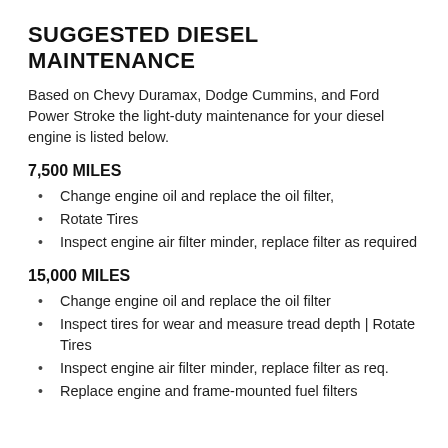SUGGESTED DIESEL MAINTENANCE
Based on Chevy Duramax, Dodge Cummins, and Ford Power Stroke the light-duty maintenance for your diesel engine is listed below.
7,500 MILES
Change engine oil and replace the oil filter,
Rotate Tires
Inspect engine air filter minder, replace filter as required
15,000 MILES
Change engine oil and replace the oil filter
Inspect tires for wear and measure tread depth | Rotate Tires
Inspect engine air filter minder, replace filter as req.
Replace engine and frame-mounted fuel filters